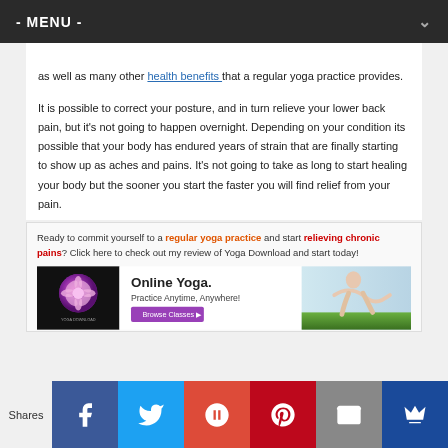- MENU -
as well as many other health benefits that a regular yoga practice provides.
It is possible to correct your posture, and in turn relieve your lower back pain, but it’s not going to happen overnight. Depending on your condition its possible that your body has endured years of strain that are finally starting to show up as aches and pains. It’s not going to take as long to start healing your body but the sooner you start the faster you will find relief from your pain.
Ready to commit yourself to a regular yoga practice and start relieving chronic pains? Click here to check out my review of Yoga Download and start today!
[Figure (screenshot): Yoga Download advertisement banner showing logo, 'Online Yoga. Practice Anytime, Anywhere!' text with Browse Classes button and person doing yoga]
Shares [Facebook] [Twitter] [Google+] [Pinterest] [Email] [Crown]